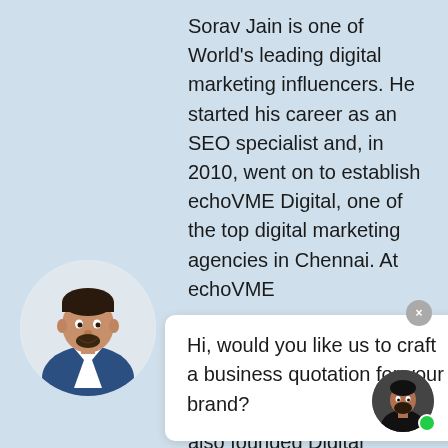Sorav Jain is one of World's leading digital marketing influencers. He started his career as an SEO specialist and, in 2010, went on to establish echoVME Digital, one of the top digital marketing agencies in Chennai. At echoVME
[Figure (screenshot): Chat popup overlay with white background and rounded corners containing text: 'Hi, would you like us to craft a business quotation for your brand?']
solutions for brands across India. In 2019, he also founded Digital Scholar, the
[Figure (photo): Circular avatar photo of a man in a blue blazer with arms crossed, white background, bottom left of page]
[Figure (photo): Small circular avatar photo of a man in a dark jacket, bottom right corner with green online indicator dot]